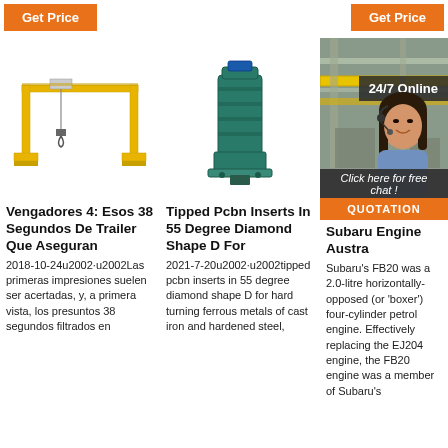[Figure (other): Orange 'Get Price' button top left]
[Figure (other): Orange 'Get Price' button top right]
[Figure (photo): Yellow overhead bridge crane / gantry crane on white background]
Vengadores 4: Esos 38 Segundos De Trailer Que Aseguran
2018-10-24u2002·u2002Las primeras impresiones suelen ser acertadas, y, a primera vista, los presuntos 38 segundos filtrados en
[Figure (photo): Green industrial vertical motor / machine component on white background]
Tipped Pcbn Inserts In 55 Degree Diamond Shape D For
2021-7-20u2002·u2002tipped pcbn inserts in 55 degree diamond shape D for hard turning ferrous metals of cast iron and hardened steel,
[Figure (photo): Industrial warehouse/crane facility interior photo with yellow overhead cranes]
[Figure (photo): Woman with headset - 24/7 online customer service chat overlay]
Subaru Engine Australia
Subaru's FB20 was a 2.0-litre horizontally-opposed (or 'boxer') four-cylinder petrol engine. Effectively replacing the EJ204 engine, the FB20 engine was a member of Subaru's